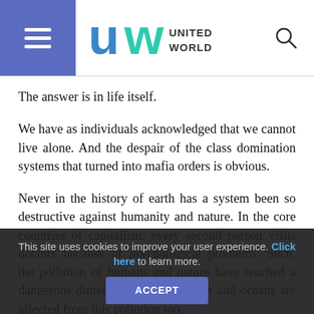United World — site header with hamburger menu, logo, and search icon
The answer is in life itself.
We have as individuals acknowledged that we cannot live alone. And the despair of the class domination systems that turned into mafia orders is obvious.
Never in the history of earth has a system been so destructive against humanity and nature. In the core countries of capitalism, every second person visits doctors because of psychological problems. Such, the pollution of humans and nature have reached a dangerous dimension. Forests, rivers and oceans are affected from this pollution too.
This site uses cookies to improve your user experience. Click here to learn more.